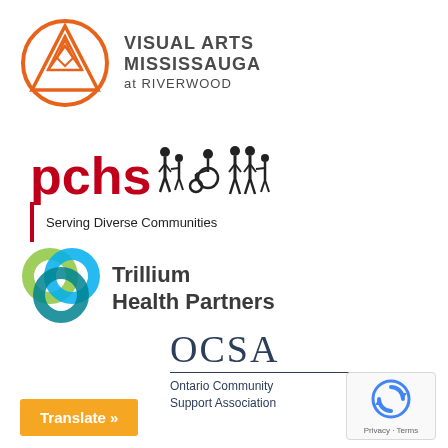[Figure (logo): Visual Arts Mississauga at Riverwood logo: orange circle with geometric mountain/triangle design inside, text 'VISUAL ARTS MISSISSAUGA at RIVERWOOD' in bold grey sans-serif]
[Figure (logo): PCHS logo: large red 'pchs' text with silhouettes of diverse people including wheelchair user, tagline 'Serving Diverse Communities']
[Figure (logo): Trillium Health Partners logo: three interlocked rings in green, teal, and blue, with 'Trillium Health Partners' in bold dark grey]
[Figure (logo): OCSA Ontario Community Support Association logo: stylized 'OCSA' letters in navy blue serif font with horizontal rule and tagline]
Translate »
[Figure (logo): reCAPTCHA badge with Privacy and Terms links]